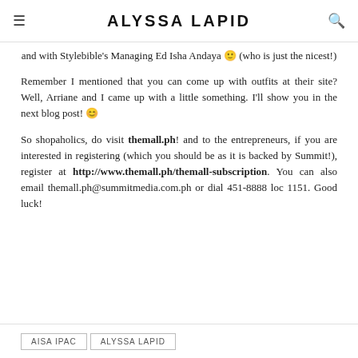ALYSSA LAPID
and with Stylebible's Managing Ed Isha Andaya 🙂 (who is just the nicest!)
Remember I mentioned that you can come up with outfits at their site? Well, Arriane and I came up with a little something. I'll show you in the next blog post! 😊
So shopaholics, do visit themall.ph! and to the entrepreneurs, if you are interested in registering (which you should be as it is backed by Summit!), register at http://www.themall.ph/themall-subscription. You can also email themall.ph@summitmedia.com.ph or dial 451-8888 loc 1151. Good luck!
AISA IPAC
ALYSSA LAPID